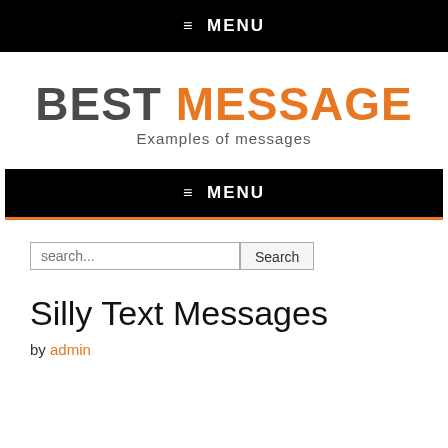≡ MENU
BEST MESSAGE Examples of messages
≡ MENU
search...
Silly Text Messages
by admin